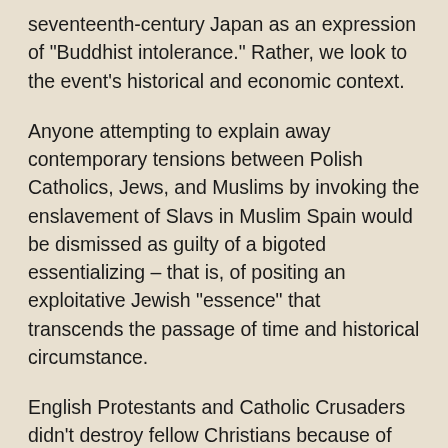seventeenth-century Japan as an expression of "Buddhist intolerance." Rather, we look to the event's historical and economic context.
Anyone attempting to explain away contemporary tensions between Polish Catholics, Jews, and Muslims by invoking the enslavement of Slavs in Muslim Spain would be dismissed as guilty of a bigoted essentializing – that is, of positing an exploitative Jewish "essence" that transcends the passage of time and historical circumstance.
English Protestants and Catholic Crusaders didn't destroy fellow Christians because of anything the Bible says. They did so for economic and power reasons. In the same way that we must understand economic and political context to make sense of the siege of Constantinople in 1204, we must understand economic and political context to understand the history of Jews in Europe, and not write off any bad thing that happened to Jews as the inevitable result of Christian theology – for the simple reason that it is contrary to Christian theology to kill, expel, or massacre. If those killing and massacring are not following theological precepts, we